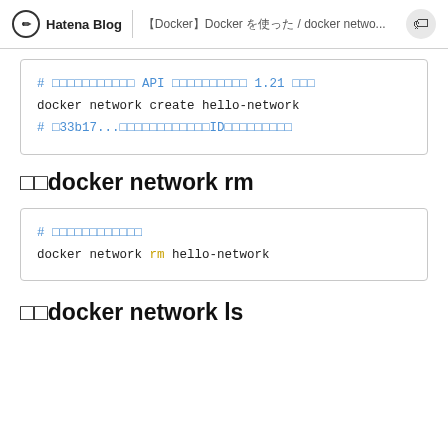Hatena Blog | 【Docker】Docker を使った / docker netwo...
[Figure (screenshot): Code block showing docker network create command with comments in Japanese]
□□docker network rm
[Figure (screenshot): Code block showing docker network rm hello-network command with Japanese comment]
□□docker network ls